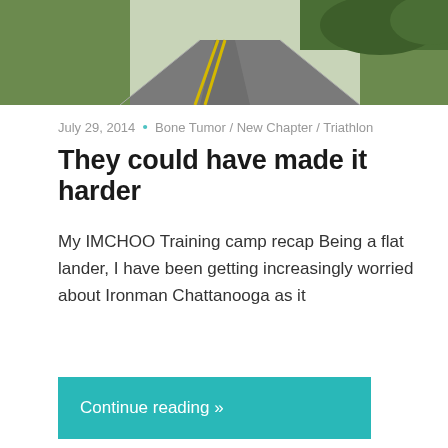[Figure (photo): Top portion of a road/path photo with green grass and yellow road markings]
July 29, 2014  •  Bone Tumor / New Chapter / Triathlon
They could have made it harder
My IMCHOO Training camp recap Being a flat lander, I have been getting increasingly worried about Ironman Chattanooga as it
Continue reading »
[Figure (photo): Close-up photo of what appears to be legs/skin tones]